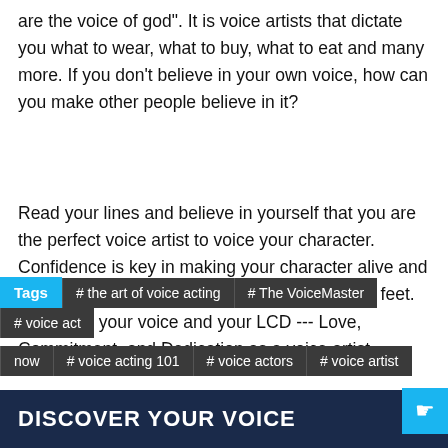are the voice of god". It is voice artists that dictate you what to wear, what to buy, what to eat and many more. If you don't believe in your own voice, how can you make other people believe in it?
Read your lines and believe in yourself that you are the perfect voice artist to voice your character. Confidence is key in making your character alive and genuine enough to sway the audience off their feet. Believe in your voice and your LCD --- Love, Commitment, and Dedication as a voice artist.
Tags | # the art of voice acting | # The VoiceMaster | # voice act... now | # voice acting 101 | # voice actors | # voice artist
DISCOVER YOUR VOICE